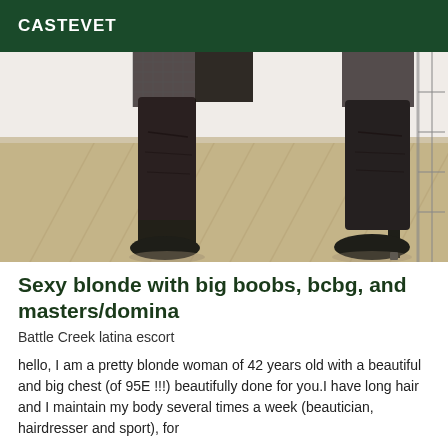CASTEVET
[Figure (photo): Photo showing legs wearing black knee-high heeled boots with fishnet stockings, standing on a light wooden herringbone floor against a white wall background.]
Sexy blonde with big boobs, bcbg, and masters/domina
Battle Creek latina escort
hello, I am a pretty blonde woman of 42 years old with a beautiful and big chest (of 95E !!!) beautifully done for you.I have long hair and I maintain my body several times a week (beautician, hairdresser and sport), for